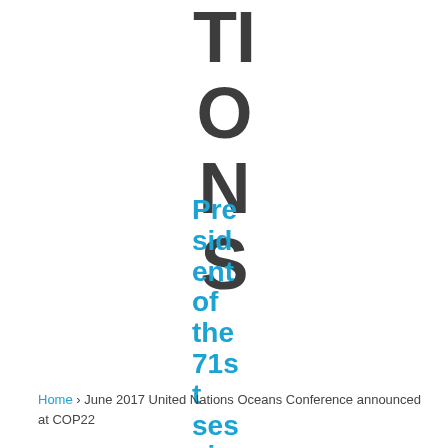TIONS
President of the 71st session
Home › June 2017 United Nations Oceans Conference announced at COP22